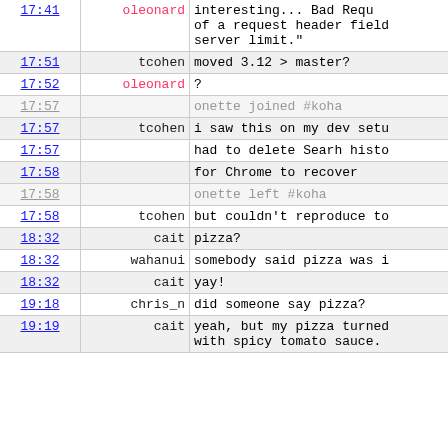| time | user | message |
| --- | --- | --- |
| 17:41 | oleonard | interesting...  Bad Requ... of a request header field... server limit." |
| 17:51 | tcohen | moved 3.12 > master? |
| 17:52 | oleonard | ? |
| 17:57 |  | onette joined #koha |
| 17:57 | tcohen | i saw this on my dev setu... |
| 17:57 |  | had to delete Searh histo... |
| 17:58 |  | for Chrome to recover |
| 17:58 |  | onette left #koha |
| 17:58 | tcohen | but couldn't reproduce to... |
| 18:32 | cait | pizza? |
| 18:32 | wahanui | somebody said pizza was i... |
| 18:32 | cait | yay! |
| 19:18 | chris_n | did someone say pizza? |
| 19:19 | cait | yeah, but my pizza turned... with spicy tomato sauce. |